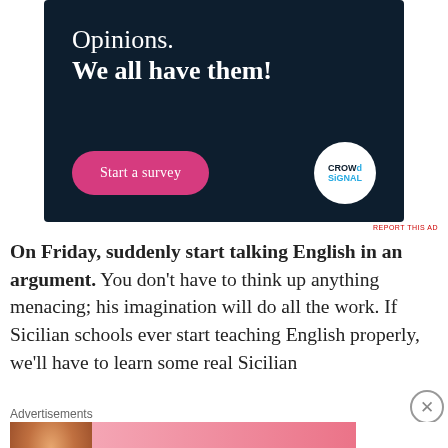[Figure (illustration): Advertisement banner with dark navy background. Text reads 'Opinions. We all have them!' in white. A pink 'Start a survey' button on the left and a white circular Crowdsignal logo on the right.]
REPORT THIS AD
On Friday, suddenly start talking English in an argument. You don't have to think up anything menacing; his imagination will do all the work. If Sicilian schools ever start teaching English properly, we'll have to learn some real Sicilian
Advertisements
[Figure (illustration): Victoria's Secret advertisement banner with pink gradient background. Shows a woman with curly hair on the left, VS logo and 'VICTORIA'S SECRET' text in center, 'SHOP THE COLLECTION' text, and a white 'SHOP NOW' button on the right.]